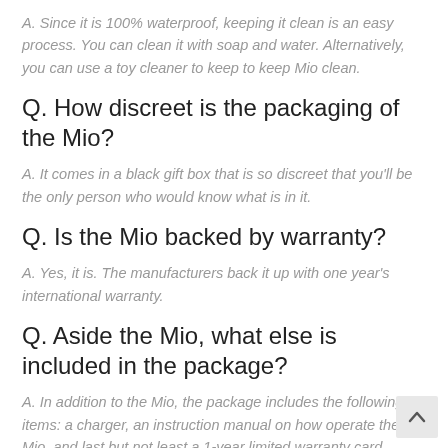A. Since it is 100% waterproof, keeping it clean is an easy process. You can clean it with soap and water. Alternatively, you can use a toy cleaner to keep to keep Mio clean.
Q. How discreet is the packaging of the Mio?
A. It comes in a black gift box that is so discreet that you'll be the only person who would know what is in it.
Q. Is the Mio backed by warranty?
A. Yes, it is. The manufacturers back it up with one year's international warranty.
Q. Aside the Mio, what else is included in the package?
A. In addition to the Mio, the package includes the following items: a charger, an instruction manual on how operate the Mio, and last but not least a 1-year limited warranty card.